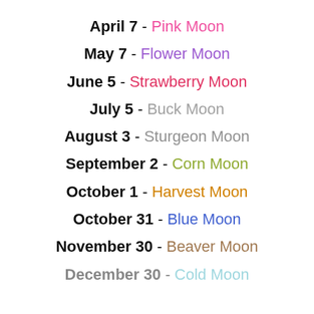April 7 - Pink Moon
May 7 - Flower Moon
June 5 - Strawberry Moon
July 5 - Buck Moon
August 3 - Sturgeon Moon
September 2 - Corn Moon
October 1 - Harvest Moon
October 31 - Blue Moon
November 30 - Beaver Moon
December 30 - Cold Moon